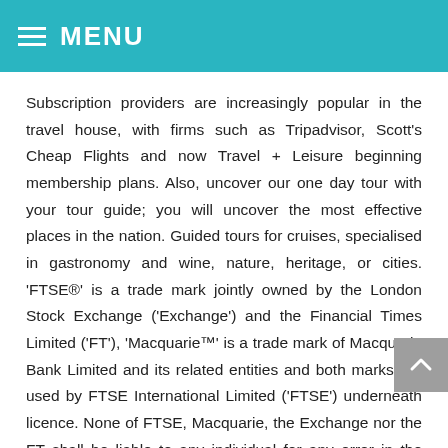MENU
Subscription providers are increasingly popular in the travel house, with firms such as Tripadvisor, Scott's Cheap Flights and now Travel + Leisure beginning membership plans. Also, uncover our one day tour with your tour guide; you will uncover the most effective places in the nation. Guided tours for cruises, specialised in gastronomy and wine, nature, heritage, or cities. 'FTSE®' is a trade mark jointly owned by the London Stock Exchange ('Exchange') and the Financial Times Limited ('FT'), 'Macquarie™' is a trade mark of Macquarie Bank Limited and its related entities and both marks are used by FTSE International Limited ('FTSE') underneath licence. None of FTSE, Macquarie, the Exchange nor the FT shall be liable to any individual for any error in the Index and none of FTSE, Macquarie, the Exchange nor FT shall be under any obligation to advise any individual of any error therein.